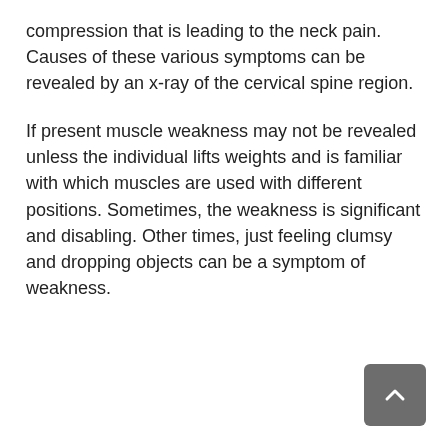compression that is leading to the neck pain. Causes of these various symptoms can be revealed by an x-ray of the cervical spine region.
If present muscle weakness may not be revealed unless the individual lifts weights and is familiar with which muscles are used with different positions. Sometimes, the weakness is significant and disabling. Other times, just feeling clumsy and dropping objects can be a symptom of weakness.